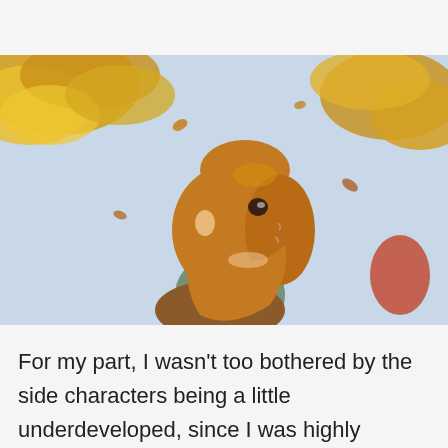[Figure (illustration): Anime illustration of a girl with brown hair looking upward at falling autumn leaves against a light blue sky background. She is wearing a brown jacket. Golden yellow autumn tree leaves are visible in the upper left and right corners.]
For my part, I wasn't too bothered by the side characters being a little underdeveloped, since I was highly invested in Tsuneo and Josee's story and at the very least, each character serves a purpose. The lives of the two leads change so much from meeting one another